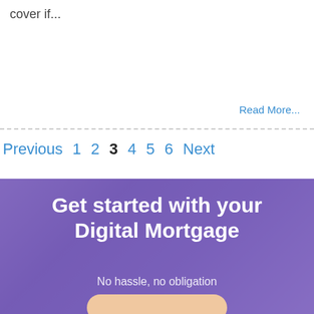cover if...
Read More...
Previous  1  2  3  4  5  6  Next
[Figure (photo): Purple-overlaid interior room photo banner with text 'Get started with your Digital Mortgage' and subtitle 'No hassle, no obligation']
Get started with your Digital Mortgage
No hassle, no obligation